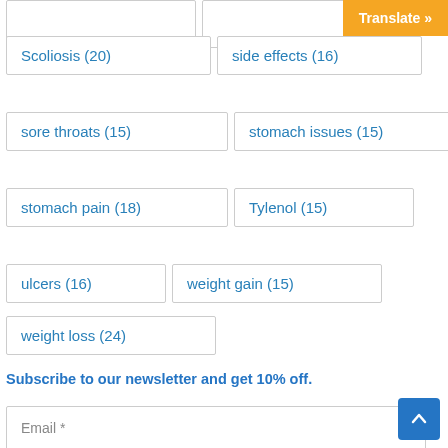Scoliosis (20)
side effects (16)
sore throats (15)
stomach issues (15)
stomach pain (18)
Tylenol (15)
ulcers (16)
weight gain (15)
weight loss (24)
Subscribe to our newsletter and get 10% off.
Email *